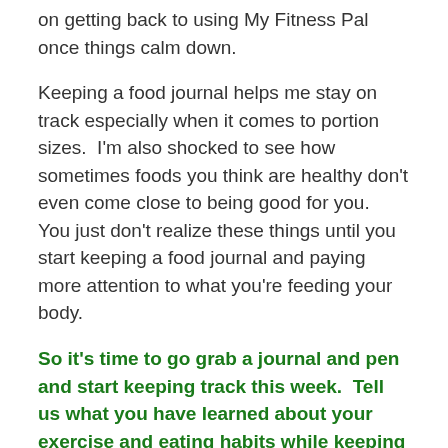on getting back to using My Fitness Pal once things calm down.
Keeping a food journal helps me stay on track especially when it comes to portion sizes.  I'm also shocked to see how sometimes foods you think are healthy don't even come close to being good for you.  You just don't realize these things until you start keeping a food journal and paying more attention to what you're feeding your body.
So it's time to go grab a journal and pen and start keeping track this week.  Tell us what you have learned about your exercise and eating habits while keeping a food and exercise log.
This is the Week 3 BHL Challenge post. Be sure to comment before next Monday, June 24th to let us know how you did this week.